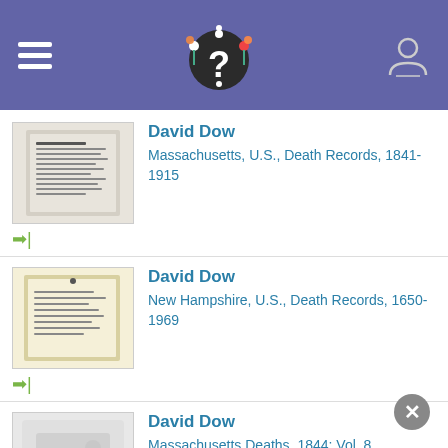Header bar with menu, logo, and user icon
David Dow — Massachusetts, U.S., Death Records, 1841-1915
David Dow — New Hampshire, U.S., Death Records, 1650-1969
David Dow — Massachusetts Deaths, 1844: Vol. 8, Barnstable to Hampshire; Volume 9, Middlesex to Worcester
David Dow